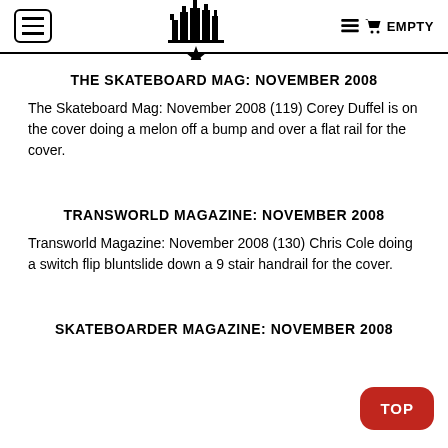≡ [logo] 🛒 EMPTY
THE SKATEBOARD MAG: NOVEMBER 2008
The Skateboard Mag: November 2008 (119) Corey Duffel is on the cover doing a melon off a bump and over a flat rail for the cover.
TRANSWORLD MAGAZINE: NOVEMBER 2008
Transworld Magazine: November 2008 (130) Chris Cole doing a switch flip bluntslide down a 9 stair handrail for the cover.
SKATEBOARDER MAGAZINE: NOVEMBER 2008